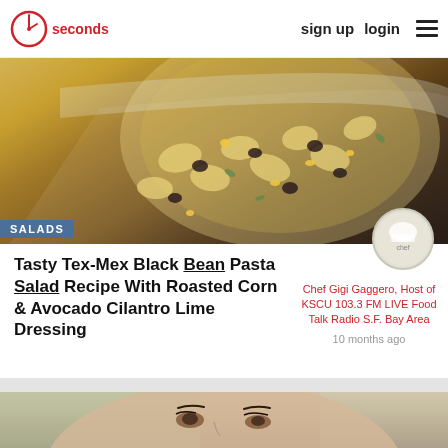30 seconds | sign up  login
[Figure (photo): Overhead close-up of pasta salad with black beans, corn, and bowtie/farfalle pasta in a white square dish, viewed from above]
SALADS
Tasty Tex-Mex Black Bean Pasta Salad Recipe With Roasted Corn & Avocado Cilantro Lime Dressing
Chef Gigi Gaggero, Host of KSCU 103.3 FM LIVE Food Talk Radio S.F. Bay Area
10 months ago
[Figure (photo): Close-up portrait of a young woman with brown eyes, looking slightly to the side, with blurred green background]